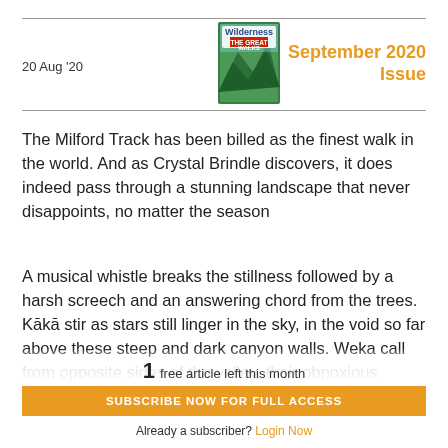20 Aug '20 | September 2020 Issue
The Milford Track has been billed as the finest walk in the world. And as Crystal Brindle discovers, it does indeed pass through a stunning landscape that never disappoints, no matter the season
A musical whistle breaks the stillness followed by a harsh screech and an answering chord from the trees. Kākā stir as stars still linger in the sky, in the void so far above these steep and dark canyon walls. Weka call from opposite sides of the valley, their obnoxious
1 free article left this month
SUBSCRIBE NOW FOR FULL ACCESS
Already a subscriber? Login Now